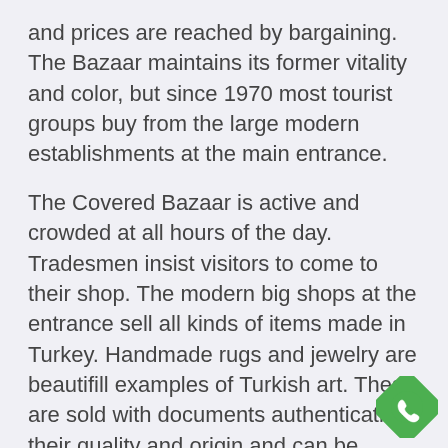and prices are reached by bargaining. The Bazaar maintains its former vitality and color, but since 1970 most tourist groups buy from the large modern establishments at the main entrance.
The Covered Bazaar is active and crowded at all hours of the day. Tradesmen insist visitors to come to their shop. The modern big shops at the entrance sell all kinds of items made in Turkey. Handmade rugs and jewelry are beautifill examples of Turkish art. These are sold with documents authenticating their quality and origin and can be shipped safely anywhere in the world. In addition to jewelry and rugs, Turkish silver work, copper and bronze gifts and decorative pieces,
[Figure (logo): WhatsApp logo — green diamond/shield shape with white phone handset icon]